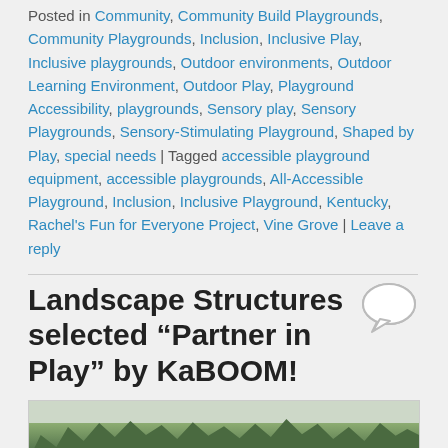Posted in Community, Community Build Playgrounds, Community Playgrounds, Inclusion, Inclusive Play, Inclusive playgrounds, Outdoor environments, Outdoor Learning Environment, Outdoor Play, Playground Accessibility, playgrounds, Sensory play, Sensory Playgrounds, Sensory-Stimulating Playground, Shaped by Play, special needs | Tagged accessible playground equipment, accessible playgrounds, All-Accessible Playground, Inclusion, Inclusive Playground, Kentucky, Rachel's Fun for Everyone Project, Vine Grove | Leave a reply
Landscape Structures selected “Partner in Play” by KaBOOM!
Posted on November 29, 2018
[Figure (photo): Outdoor landscape photo showing trees and green field area]